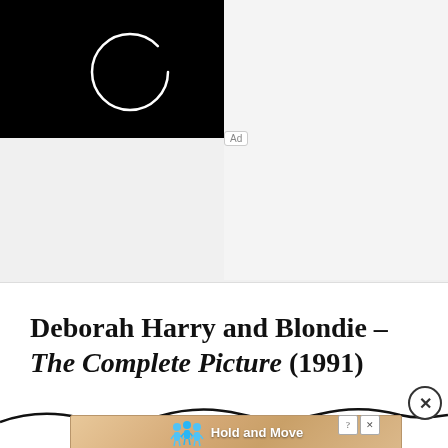[Figure (screenshot): Video player area with black background showing a white loading circle spinner in the center-left area]
Ad
Deborah Harry and Blondie – The Complete Picture (1991)
[Figure (screenshot): Bottom advertisement banner showing blue cartoon figures and text 'Hold and Move' with close and help buttons]